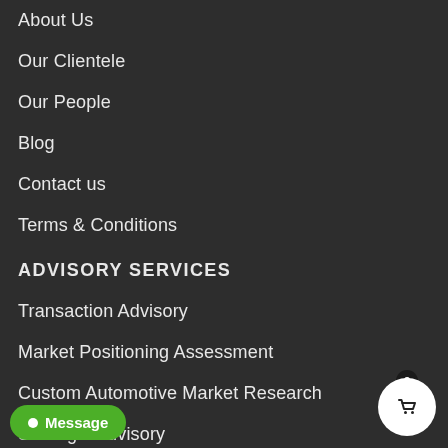About Us
Our Clientele
Our People
Blog
Contact us
Terms & Conditions
ADVISORY SERVICES
Transaction Advisory
Market Positioning Assessment
Custom Automotive Market Research
Strategic Advisory
Competitive Intelligence